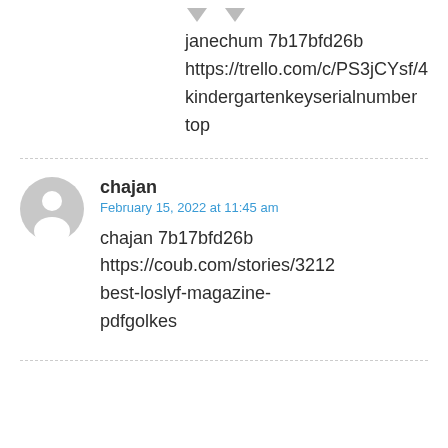janechum 7b17bfd26b
https://trello.com/c/PS3jCYsf/4
kindergartenkeyserialnumber
top
chajan
February 15, 2022 at 11:45 am
chajan 7b17bfd26b
https://coub.com/stories/3212
best-loslyf-magazine-pdfgolkes